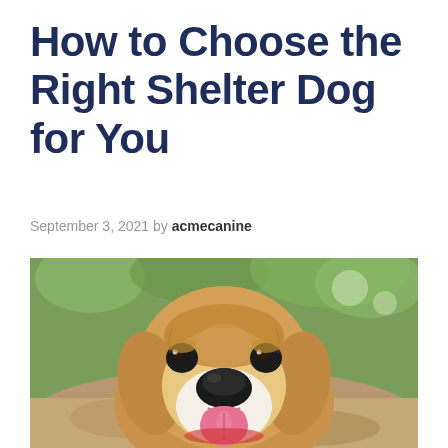How to Choose the Right Shelter Dog for You
September 3, 2021 by acmecanine
[Figure (photo): Close-up photo of a happy beagle dog with tan and white fur, dark eyes, black nose, and tongue out, set against a blurred green and brown outdoor background.]